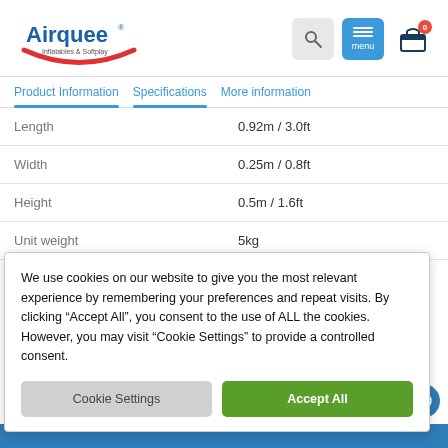Airquee Inflatables & Softplay
Product Information   Specifications   More information
|  |  |
| --- | --- |
| Length | 0.92m / 3.0ft |
| Width | 0.25m / 0.8ft |
| Height | 0.5m / 1.6ft |
| Unit weight | 5kg |
We use cookies on our website to give you the most relevant experience by remembering your preferences and repeat visits. By clicking “Accept All”, you consent to the use of ALL the cookies. However, you may visit "Cookie Settings" to provide a controlled consent.